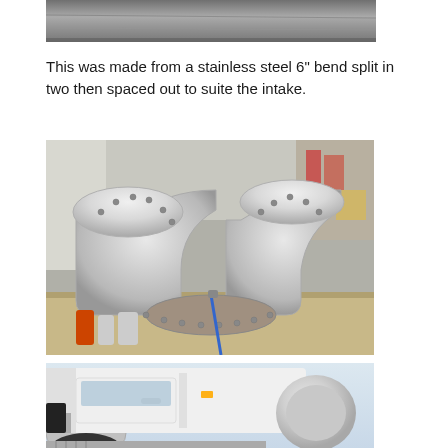[Figure (photo): Partial view of a stainless steel 6 inch bend component, cropped at the top of the page]
This was made from a stainless steel 6" bend split in two then spaced out to suite the intake.
[Figure (photo): Stainless steel 6 inch pipe bend split in two halves and spaced apart, sitting on a workbench in a garage workshop]
[Figure (photo): Bottom portion of a white Land Rover with the stainless steel intake component visible near the wheel arch]